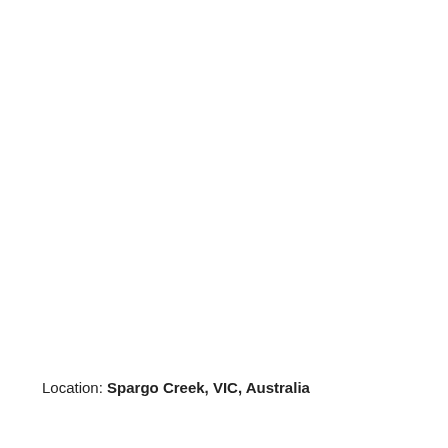Location: Spargo Creek, VIC, Australia